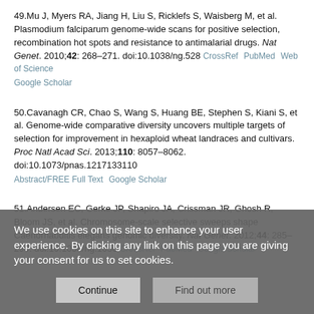49.Mu J, Myers RA, Jiang H, Liu S, Ricklefs S, Waisberg M, et al. Plasmodium falciparum genome-wide scans for positive selection, recombination hot spots and resistance to antimalarial drugs. Nat Genet. 2010;42: 268–271. doi:10.1038/ng.528  CrossRef  PubMed  Web of Science  Google Scholar
50.Cavanagh CR, Chao S, Wang S, Huang BE, Stephen S, Kiani S, et al. Genome-wide comparative diversity uncovers multiple targets of selection for improvement in hexaploid wheat landraces and cultivars. Proc Natl Acad Sci. 2013;110: 8057–8062. doi:10.1073/pnas.1217133110  Abstract/FREE Full Text  Google Scholar
51.Andersen EC, Gerke JP, Shapiro JA, Crissman JR, Ghosh R, Bloom JS, et al. Chromosome-scale selective sweeps shape Caenorhabditis elegans genomic diversity. Nat Genet. 2012;44: 285–290. doi:10.1038/ng.1050  CrossRef  PubMed  Google Scholar
We use cookies on this site to enhance your user experience. By clicking any link on this page you are giving your consent for us to set cookies.